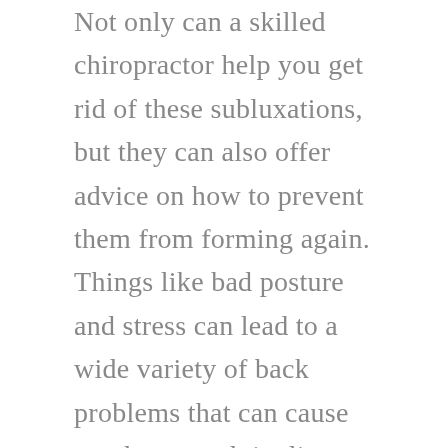Not only can a skilled chiropractor help you get rid of these subluxations, but they can also offer advice on how to prevent them from forming again. Things like bad posture and stress can lead to a wide variety of back problems that can cause numbness and tingling.
To see this in action, take a look at the case of this 41-year-old woman. She experienced numbness in part of her right forearm and with three of her fingers. Initially, she assumed she had slept on it wrong, but the symptoms didn't go away after the few minutes it usually takes